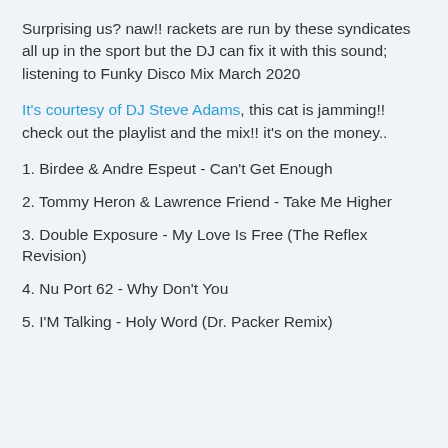Surprising us? naw!!  rackets are run by these syndicates all up in the sport  but the DJ can fix it with this sound; listening to Funky Disco Mix March 2020
It's courtesy of DJ Steve Adams, this cat is jamming!! check out the playlist and the mix!! it's on the money..
1. Birdee & Andre Espeut - Can't Get Enough
2. Tommy Heron & Lawrence Friend - Take Me Higher
3. Double Exposure - My Love Is Free (The Reflex Revision)
4. Nu Port 62 - Why Don't You
5. I'M Talking - Holy Word (Dr. Packer Remix)